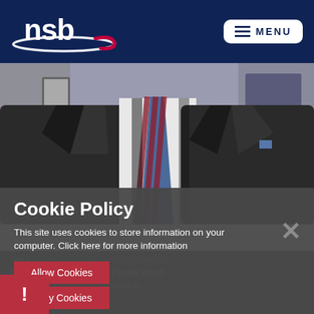[Figure (logo): NSB logo — white text 'nsb' with red swoosh on dark navy background]
[Figure (screenshot): Menu button: hamburger icon with 'MENU' text on white rounded rectangle]
[Figure (photo): Photo of two men in dark suits, one with a striped tie, visible from neck/chest down]
Cookie Policy
This site uses cookies to store information on your computer. Click here for more information
Allow Cookies
Deny Cookies
The England Cricket Board has invited Ma Miller to represent England in the World golf Championships being held in S in September, Ab...